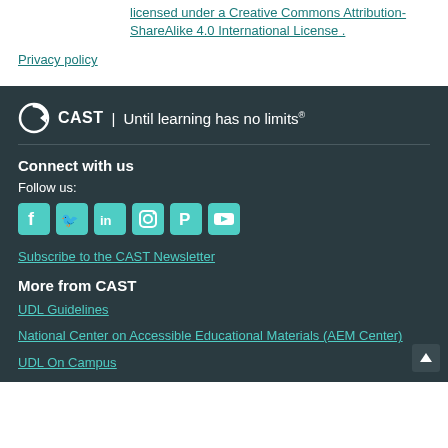licensed under a Creative Commons Attribution-ShareAlike 4.0 International License .
Privacy policy
[Figure (logo): CAST logo with circular arrow icon and text 'CAST | Until learning has no limits®']
Connect with us
Follow us:
[Figure (infographic): Social media icons: Facebook, Twitter, LinkedIn, Instagram, Pinterest, YouTube]
Subscribe to the CAST Newsletter
More from CAST
UDL Guidelines
National Center on Accessible Educational Materials (AEM Center)
UDL On Campus